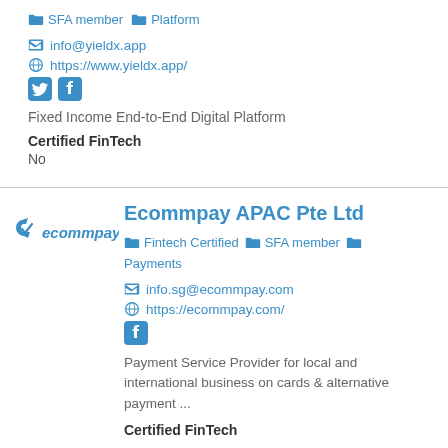SFA member  Platform
info@yieldx.app
https://www.yieldx.app/
Fixed Income End-to-End Digital Platform
Certified FinTech
No
Ecommpay APAC Pte Ltd
Fintech Certified  SFA member  Payments
info.sg@ecommpay.com
https://ecommpay.com/
Payment Service Provider for local and international business on cards & alternative payment ...
Certified FinTech